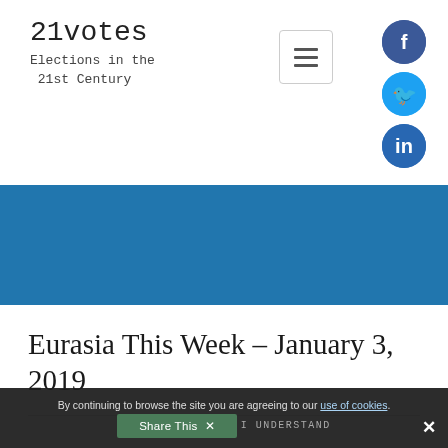21votes Elections in the 21st Century
[Figure (other): Blue hero/banner image area]
Eurasia This Week – January 3, 2019
By continuing to browse the site you are agreeing to our use of cookies. Share This I UNDERSTAND ✕